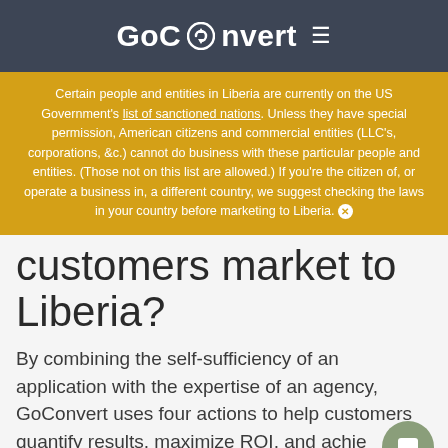GoConvert
Certain people and entities in Liberia are currently on the US Government's list of sanctioned nations. Unless they have special permission, American citizens and commercial entities (LLC's, corporations, &c.) cannot do business with these particular people and entities. (Those not on this list are allowed.) If you're the citizen of, or operate a business in, a different country, we suggest checking the laws in your country before marketing to Liberia.
customers market to Liberia?
By combining the self-sufficiency of an application with the expertise of an agency, GoConvert uses four actions to help customers quantify results, maximize ROI, and achieve their marketing goals.